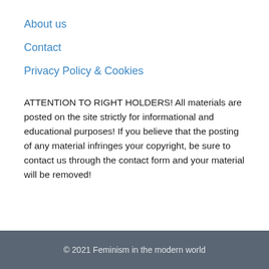About us
Contact
Privacy Policy & Cookies
ATTENTION TO RIGHT HOLDERS! All materials are posted on the site strictly for informational and educational purposes! If you believe that the posting of any material infringes your copyright, be sure to contact us through the contact form and your material will be removed!
© 2021 Feminism in the modern world